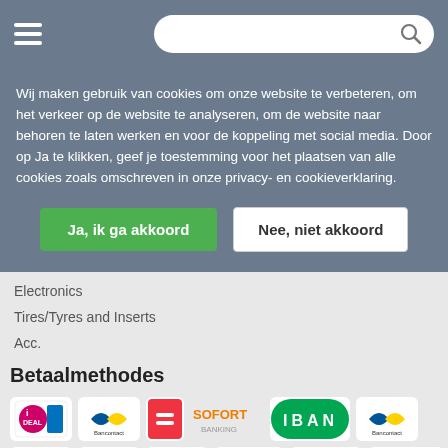[Figure (screenshot): Navigation bar with hamburger menu and search bar]
Wij maken gebruik van cookies om onze website te verbeteren, om het verkeer op de website te analyseren, om de website naar behoren te laten werken en voor de koppeling met social media. Door op Ja te klikken, geef je toestemming voor het plaatsen van alle cookies zoals omschreven in onze privacy- en cookieverklaring.
Ja, ik ga akkoord
Nee, niet akkoord
Electronics
Tires/Tyres and Inserts
Acc.
Betaalmethodes
[Figure (logo): Payment method logos: iDEAL, Bancontact, Sofort Banking, IBAN, Bancontact, KBC, CBC, MasterCard, VISA, Maestro, PayPal]
[Figure (logo): Facebook footer icon]